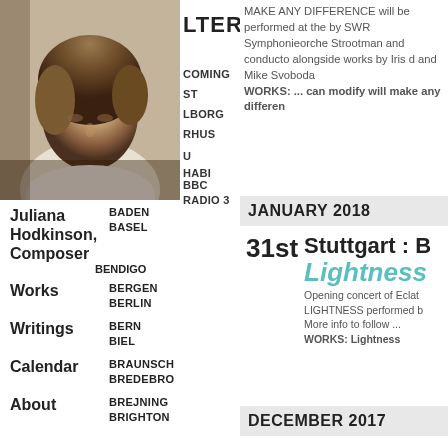[Figure (photo): Black and white photo of a woman with curly hair looking downward]
…LTERS
…COMING
…ST
…LBORG
…RHUS
…U
…HABI
BBC RADIO 3
Juliana Hodkinson, Composer
BADEN
BASEL
Works
BENDIGO
BERGEN
Writings
BERLIN
BERN
Calendar
BIEL
BRAUNSCH
BREDEBRO
About
BREJNING
BRIGHTON
MAKE ANY DIFFERENCE will be performed at the by SWR Symphonieorche Strootman and conducto alongside works by Iris d and Mike Svoboda
WORKS: ... can modify will make any differen
JANUARY 2018
31st
Stuttgart : B…
Lightness
Opening concert of Eclat LIGHTNESS performed b More info to follow ...
WORKS: Lightness
DECEMBER 2017